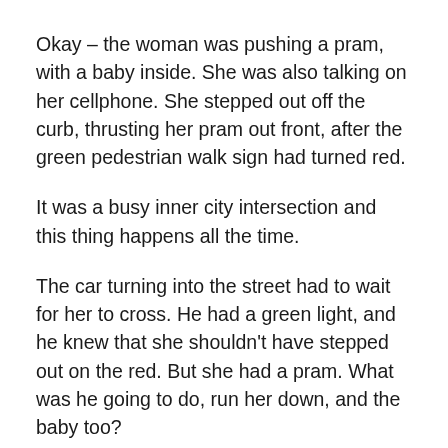Okay – the woman was pushing a pram, with a baby inside. She was also talking on her cellphone. She stepped out off the curb, thrusting her pram out front, after the green pedestrian walk sign had turned red.
It was a busy inner city intersection and this thing happens all the time.
The car turning into the street had to wait for her to cross. He had a green light, and he knew that she shouldn't have stepped out on the red. But she had a pram. What was he going to do, run her down, and the baby too?
She felt she was in the right – probably because she had a pram and a baby, which she might have felt gave her some kind of special privilege.
The driver felt he was in the right, because this woman